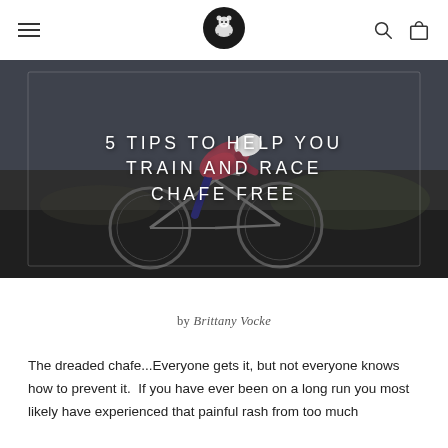Navigation bar with menu icon, WildHeads logo, search icon, and bag icon
[Figure (photo): Cyclist in aerodynamic racing position on a bicycle, dark atmospheric background with inner frame border overlay. Title text overlaid reads: 5 TIPS TO HELP YOU TRAIN AND RACE CHAFE FREE]
5 TIPS TO HELP YOU TRAIN AND RACE CHAFE FREE
by Brittany Vocke
The dreaded chafe...Everyone gets it, but not everyone knows how to prevent it.  If you have ever been on a long run you most likely have experienced that painful rash from too much rubbing and friction. So, the direction to take with that...
The dreaded chafe...Everyone gets it, but not everyone knows how to prevent it.  If you have ever been on a long run you most likely have experienced that painful rash from too much